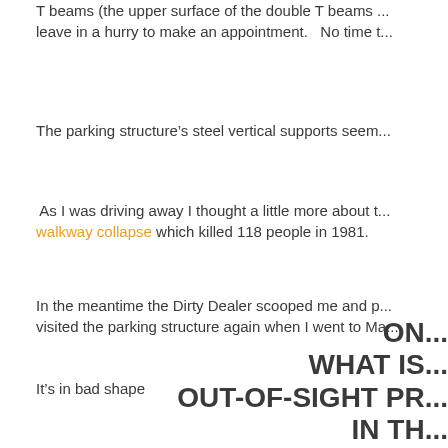T beams (the upper surface of the double T beams ... leave in a hurry to make an appointment.   No time t...
The parking structure’s steel vertical supports seem...
As I was driving away I thought a little more about t... walkway collapse which killed 118 people in 1981.
In the meantime the Dirty Dealer scooped me and p... visited the parking structure again when I went to Ma...
It’s in bad shape
ON... WHAT IS... OUT-OF-SIGHT PR... IN TH...